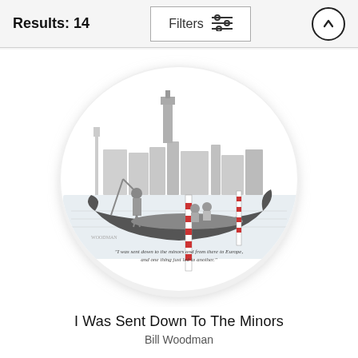Results: 14
[Figure (photo): A decorative throw pillow featuring a New Yorker cartoon by Bill Woodman showing a gondolier in Venice with two passengers, with striped mooring poles and a cityscape in the background. Caption text on the cartoon reads: "I was sent down to the minors and from there to Europe, and one thing just led to another."]
I Was Sent Down To The Minors
Bill Woodman